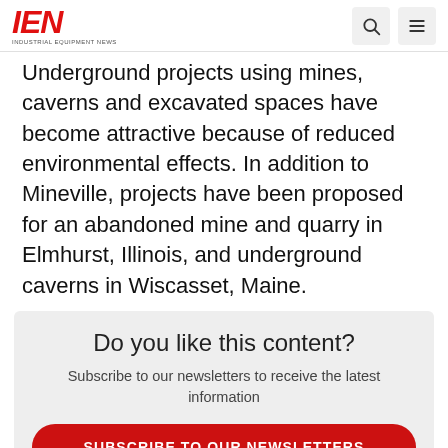IEN - INDUSTRIAL EQUIPMENT NEWS
Underground projects using mines, caverns and excavated spaces have become attractive because of reduced environmental effects. In addition to Mineville, projects have been proposed for an abandoned mine and quarry in Elmhurst, Illinois, and underground caverns in Wiscasset, Maine.
Do you like this content?
Subscribe to our newsletters to receive the latest information
SUBSCRIBE TO OUR NEWSLETTERS